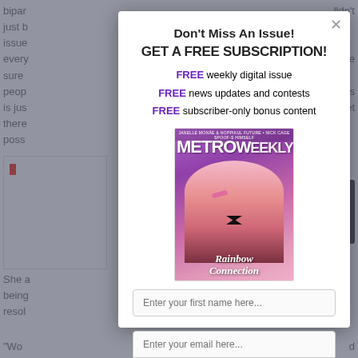[Figure (screenshot): Background webpage article text, partially obscured by modal popup overlay]
Don't Miss An Issue!
GET A FREE SUBSCRIPTION!
FREE weekly digital issue
FREE news updates and contests
FREE subscriber-only bonus content
[Figure (photo): Metro Weekly magazine cover showing a man in a pink sequined tuxedo jacket and bow tie holding pink glasses, with text 'Rainbow Connection' overlaid on a purple background]
Enter your first name here...
Enter your email here...